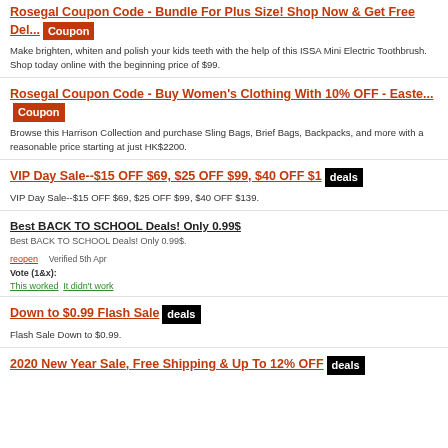Rosegal Coupon Code - Bundle For Plus Size! Shop Now & Get Free Del... Coupon
Make brighten, whiten and polish your kids teeth with the help of this ISSA Mini Electric Toothbrush. Shop today online with the beginning price of $99.
Rosegal Coupon Code - Buy Women's Clothing With 10% OFF - Easte... Coupon
Browse this Harrison Collection and purchase Sling Bags, Brief Bags, Backpacks, and more with a reasonable price starting at just HK$2200.
VIP Day Sale--$15 OFF $69, $25 OFF $99, $40 OFF $1 deals
VIP Day Sale--$15 OFF $69, $25 OFF $99, $40 OFF $139.
Best BACK TO SCHOOL Deals! Only 0.99$
Best BACK TO SCHOOL Deals! Only 0.99$.
reopen
Verified 5th Apr
Vote (1&x):
This worked It didn't work
Down to $0.99 Flash Sale deals
Flash Sale Down to $0.99.
2020 New Year Sale, Free Shipping & Up To 12% OFF deals